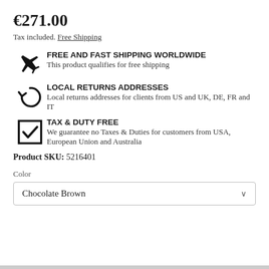€271.00
Tax included. Free Shipping
FREE AND FAST SHIPPING WORLDWIDE
This product qualifies for free shipping
LOCAL RETURNS ADDRESSES
Local returns addresses for clients from US and UK, DE, FR and IT
TAX & DUTY FREE
We guarantee no Taxes & Duties for customers from USA, European Union and Australia
Product SKU: 5216401
Color
Chocolate Brown